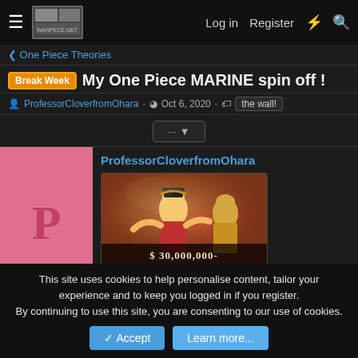≡  [logo]  Log in  Register  ⚡  🔍
< One Piece Theories
Break Week  My One Piece MARINE spin off !
ProfessorCloverfromOhara · Oct 6, 2020 · the wall!
... ▼
ProfessorCloverfromOhara
[Figure (illustration): Anime character (Monkey D. Luffy from One Piece) with red outfit, bounty poster showing $ 30,000,000-]
This site uses cookies to help personalise content, tailor your experience and to keep you logged in if you register.
By continuing to use this site, you are consenting to our use of cookies.
✓ Accept   Learn more...